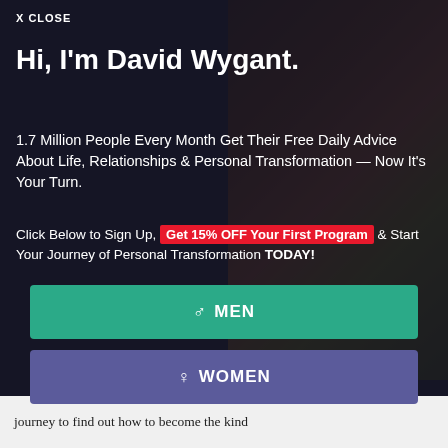X CLOSE
Hi, I'm David Wygant.
1.7 Million People Every Month Get Their Free Daily Advice About Life, Relationships & Personal Transformation — Now It's Your Turn.
Click Below to Sign Up, Get 15% OFF Your First Program & Start Your Journey of Personal Transformation TODAY!
MEN
WOMEN
journey to find out how to become the kind